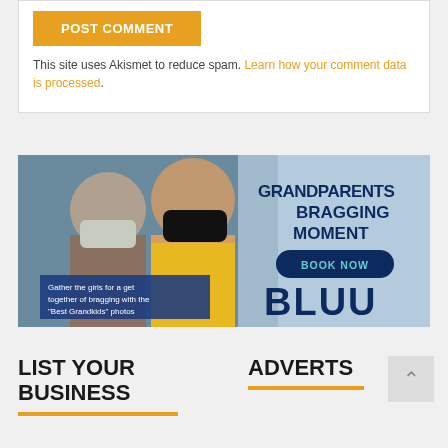POST COMMENT
This site uses Akismet to reduce spam. Learn how your comment data is processed.
[Figure (photo): Advertisement banner for BLUU showing two women wearing masks looking at a phone, with text 'GRANDPARENTS BRAGGING MOMENT', 'BOOK NOW' button, and smaller text 'Gather the girls for a get together of bragging with the "Best Grandkids" photos']
LIST YOUR BUSINESS
ADVERTS